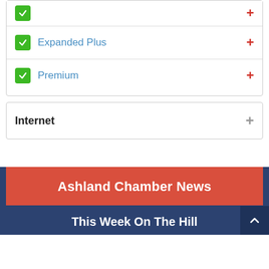Expanded Plus
Premium
Internet
Ashland Chamber News
This Week On The Hill